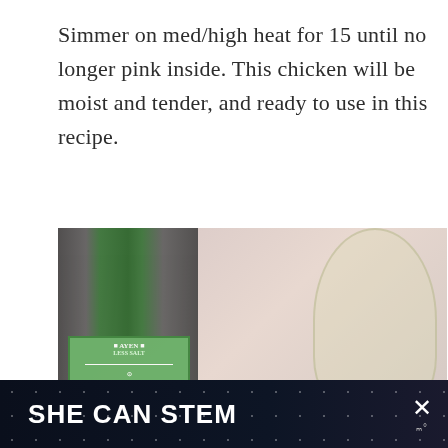Simmer on med/high heat for 15 until no longer pink inside. This chicken will be moist and tender, and ready to use in this recipe.
[Figure (photo): Photo of a green sauce bottle on the left, a wine glass filled with white wine on the right, and two garlic cloves in the center-foreground on a pinkish-beige background. UI overlays include a heart icon, a count of 65, a share icon, and a 'What's Next → 13 Slow Cooker...' card.]
[Figure (other): Advertisement banner with dark navy background with faint stars pattern. Text reads 'SHE CAN STEM' in bold white letters. An X close button and a small logo appear on the right.]